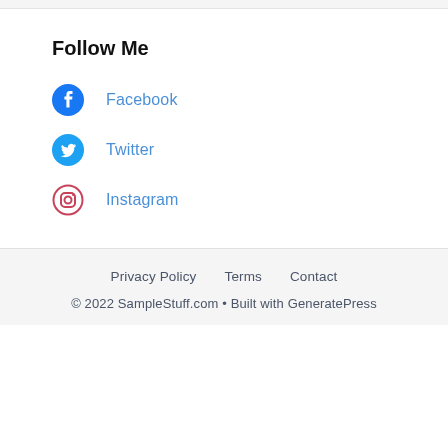Follow Me
Facebook
Twitter
Instagram
Privacy Policy   Terms   Contact
© 2022 SampleStuff.com • Built with GeneratePress